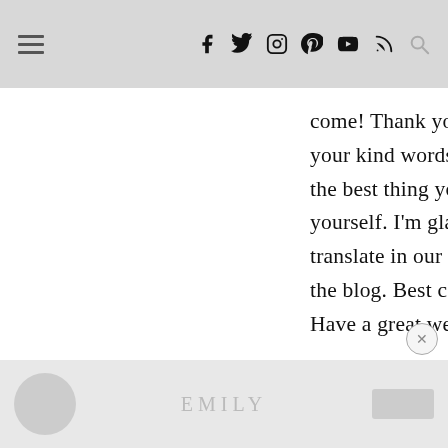≡ f y ⊙ ⊕ ▶ ))) 🔍
come! Thank you again for your kind words. I feel like the best thing you can be is yourself. I'm glad that translate in our home and on the blog. Best compliment! Have a great week! xox
EMILY